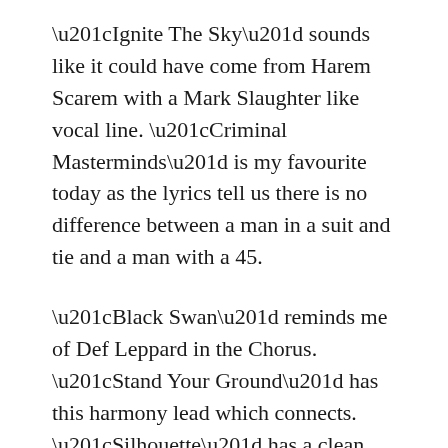“Ignite The Sky” sounds like it could have come from Harem Scarem with a Mark Slaughter like vocal line. “Criminal Masterminds” is my favourite today as the lyrics tell us there is no difference between a man in a suit and tie and a man with a 45.
“Black Swan” reminds me of Def Leppard in the Chorus. “Stand Your Ground” has this harmony lead which connects. “Silhouette” has a clean tone arpeggio riff that reminds of “Uncle Tom’s Cabin” from Warrant.